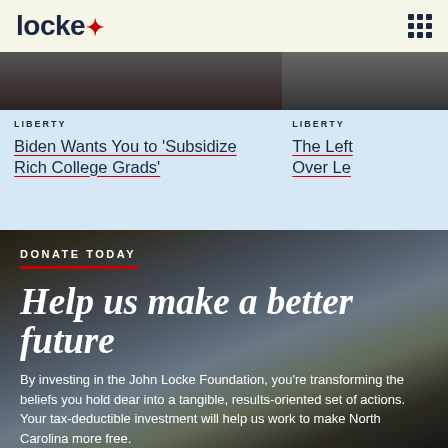locke
[Figure (photo): Partial view of a person at a desk or podium, dark toned image cropped at top]
LIBERTY
Biden Wants You to 'Subsidize Rich College Grads'
[Figure (photo): Partial right-side image, dark toned]
LIBERTY
The Left... Over Le...
DONATE TODAY
Help us make a better future
By investing in the John Locke Foundation, you're transforming the beliefs you hold dear into a tangible, results-oriented set of actions. Your tax-deductible investment will help us work to make North Carolina more free.